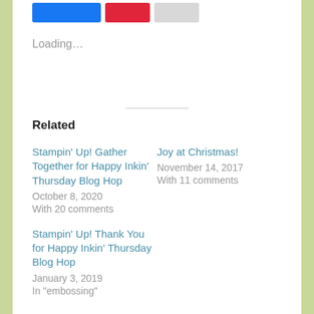[Figure (other): Social sharing buttons: blue button, red button, gray button at top]
Loading...
Related
Stampin' Up! Gather Together for Happy Inkin' Thursday Blog Hop
October 8, 2020
With 20 comments
Joy at Christmas!
November 14, 2017
With 11 comments
Stampin' Up! Thank You for Happy Inkin' Thursday Blog Hop
January 3, 2019
In "embossing"